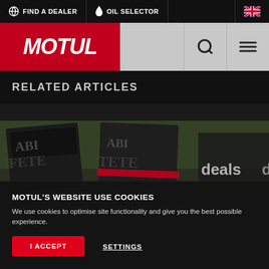FIND A DEALER | OIL SELECTOR
[Figure (logo): MOTUL brand logo on red background]
RELATED ARTICLES
[Figure (photo): Racing cars with sponsor banners including 'deals' text, motorsport event scene]
MOTUL'S WEBSITE USE COOKIES
We use cookies to optimise site functionality and give you the best possible experience.
I ACCEPT
SETTINGS